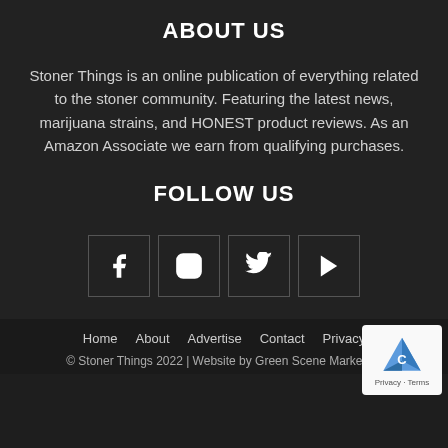ABOUT US
Stoner Things is an online publication of everything related to the stoner community. Featuring the latest news, marijuana strains, and HONEST product reviews. As an Amazon Associate we earn from qualifying purchases.
FOLLOW US
[Figure (infographic): Four social media icon buttons in bordered boxes: Facebook (f), Instagram (circle logo), Twitter (bird), YouTube (play button)]
Home  About  Advertise  Contact  Privacy
© Stoner Things 2022 | Website by Green Scene Marketing